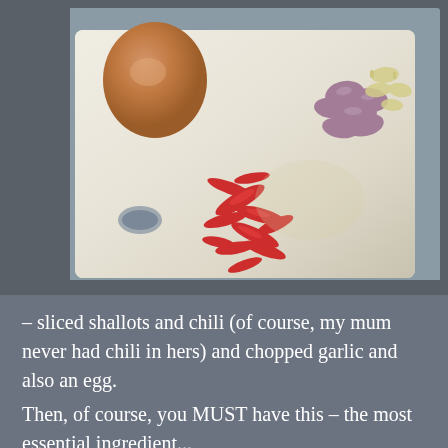[Figure (photo): Overhead photo on a grey background showing a white cutting board with sliced red chili peppers, chopped shallots and garlic in the upper right corner, and a brown egg in the upper left corner.]
– sliced shallots and chili (of course, my mum never had chili in hers) and chopped garlic and also an egg.
Then, of course, you MUST have this – the most essential ingredient...